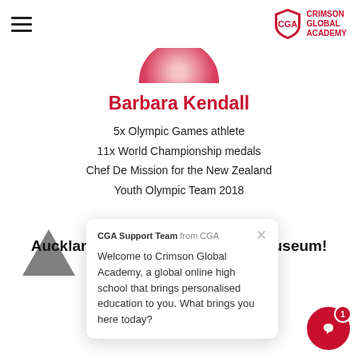CGA - Crimson Global Academy (hamburger menu + logo)
[Figure (photo): Circular avatar photo of Barbara Kendall, partially cropped at top of view, showing red/warm tones]
Barbara Kendall
5x Olympic Games athlete
11x World Championship medals
Chef De Mission for the New Zealand Youth Olympic Team 2018
[Figure (illustration): Dark grey triangle graphic in bottom left area]
Auckland, Meet the Auckland Museum!
28th AUGUST 2022 | 11AM NZT
REGISTER NOW →
CGA Support Team from CGA
Welcome to Crimson Global Academy, a global online high school that brings personalised education to you. What brings you here today?